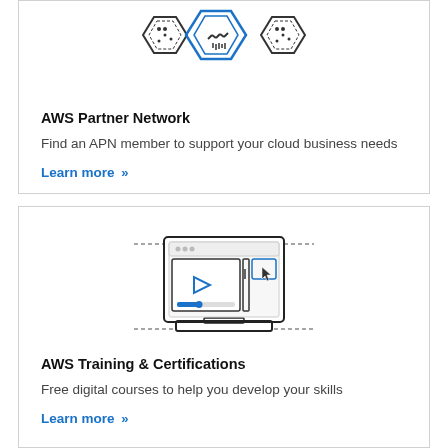[Figure (illustration): AWS Partner Network icon: three hexagon badges with handshake in the center, line art style]
AWS Partner Network
Find an APN member to support your cloud business needs
Learn more »
[Figure (illustration): AWS Training & Certifications icon: laptop with a video player and browser window, line art style with blue accents]
AWS Training & Certifications
Free digital courses to help you develop your skills
Learn more »